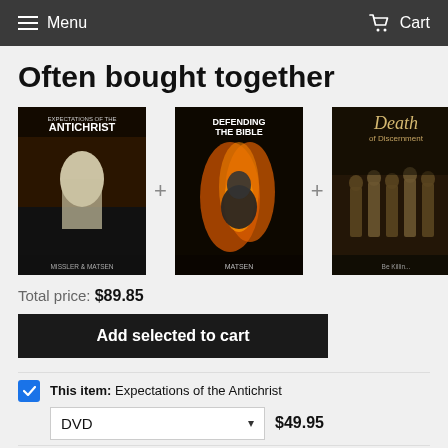Menu   Cart
Often bought together
[Figure (photo): Three book/DVD covers: 'Expectations of the Antichrist' by Missler & Matsen, 'Defending the Bible' by Matsen, and 'Death of Discernment' — arranged with plus signs between them.]
Total price: $89.85
Add selected to cart
This item: Expectations of the Antichrist
DVD   $49.95
Defending the Bible   DVD   $19.95
Death of Discernment   DVD   $19.95